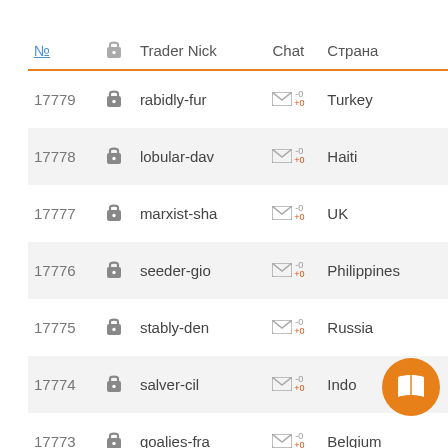| № |  | Trader Nick | Chat | Страна |
| --- | --- | --- | --- | --- |
| 17779 | 🔒 | rabidly-fur | -0/+0 | Turkey |
| 17778 | 🔒 | lobular-dav | -0/+0 | Haiti |
| 17777 | 🔒 | marxist-sha | -0/+0 | UK |
| 17776 | 🔒 | seeder-gio | -0/+0 | Philippines |
| 17775 | 🔒 | stably-den | -0/+0 | Russia |
| 17774 | 🔒 | salver-cil | -0/+0 | Indo... |
| 17773 | 🔒 | goalies-fra | -0/+0 | Belgium |